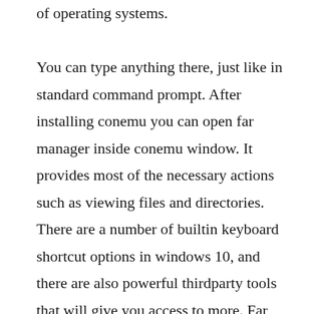of operating systems. You can type anything there, just like in standard command prompt. After installing conemu you can open far manager inside conemu window. It provides most of the necessary actions such as viewing files and directories. There are a number of builtin keyboard shortcut options in windows 10, and there are also powerful thirdparty tools that will give you access to more. Far manager works in text mode and provides a simple and intuitive interface for performing most of the. Other...